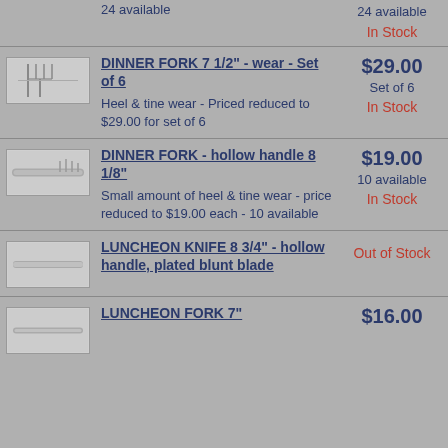24 available / 24 available / In Stock
DINNER FORK 7 1/2" - wear - Set of 6 | $29.00 | Set of 6 | In Stock | Heel & tine wear - Priced reduced to $29.00 for set of 6
DINNER FORK - hollow handle 8 1/8" | $19.00 | 10 available | In Stock | Small amount of heel & tine wear - price reduced to $19.00 each - 10 available
LUNCHEON KNIFE 8 3/4" - hollow handle, plated blunt blade | Out of Stock
LUNCHEON FORK 7" | $16.00